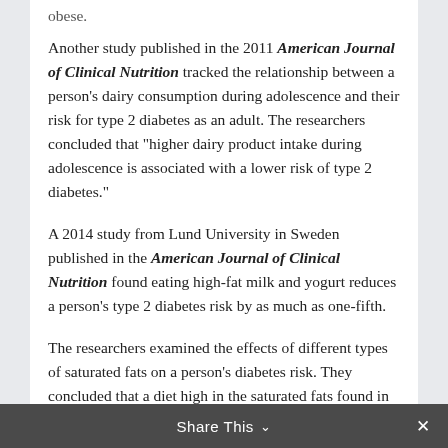obese.
Another study published in the 2011 American Journal of Clinical Nutrition tracked the relationship between a person's dairy consumption during adolescence and their risk for type 2 diabetes as an adult. The researchers concluded that "higher dairy product intake during adolescence is associated with a lower risk of type 2 diabetes."
A 2014 study from Lund University in Sweden published in the American Journal of Clinical Nutrition found eating high-fat milk and yogurt reduces a person's type 2 diabetes risk by as much as one-fifth.
The researchers examined the effects of different types of saturated fats on a person's diabetes risk. They concluded that a diet high in the saturated fats found in milk was protective against type 2 diabetes. However, they found that a diet high in saturated fats from meat
Share This